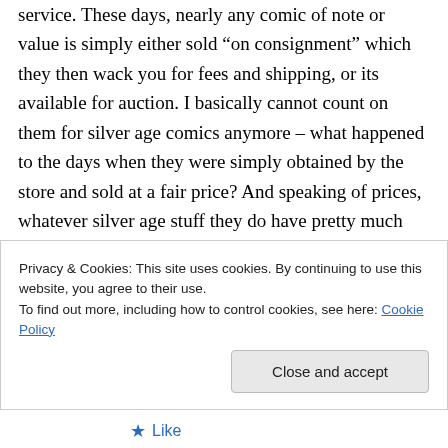service. These days, nearly any comic of note or value is simply either sold “on consignment” which they then wack you for fees and shipping, or its available for auction. I basically cannot count on them for silver age comics anymore – what happened to the days when they were simply obtained by the store and sold at a fair price? And speaking of prices, whatever silver age stuff they do have pretty much seems to be at the same price point as mid-town and mile high, so I have no particular incentive to order
Privacy & Cookies: This site uses cookies. By continuing to use this website, you agree to their use.
To find out more, including how to control cookies, see here: Cookie Policy
Close and accept
★ Like